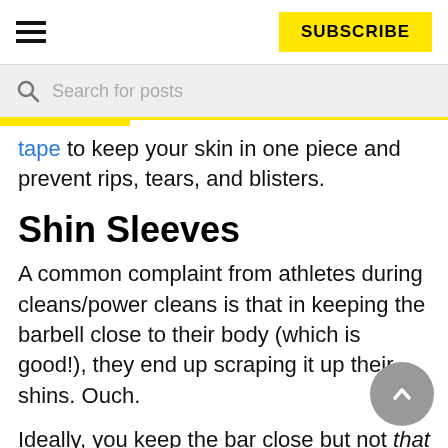SUBSCRIBE
Search for posts
tape to keep your skin in one piece and prevent rips, tears, and blisters.
Shin Sleeves
A common complaint from athletes during cleans/power cleans is that in keeping the barbell close to their body (which is good!), they end up scraping it up their shins. Ouch.
Ideally, you keep the bar close but not that close, but a simple solution is shin